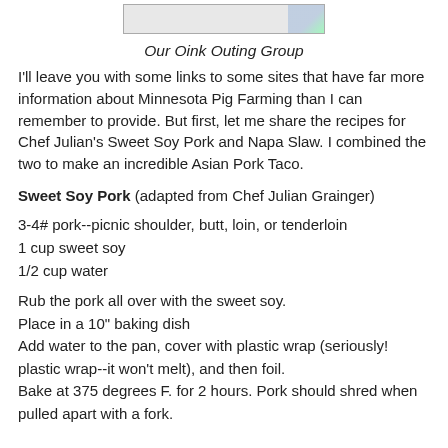[Figure (photo): Partial photo of Oink Outing Group, cropped at top]
Our Oink Outing Group
I'll leave you with some links to some sites that have far more information about Minnesota Pig Farming than I can remember to provide. But first, let me share the recipes for Chef Julian's Sweet Soy Pork and Napa Slaw. I combined the two to make an incredible Asian Pork Taco.
Sweet Soy Pork (adapted from Chef Julian Grainger)
3-4# pork--picnic shoulder, butt, loin, or tenderloin
1 cup sweet soy
1/2 cup water
Rub the pork all over with the sweet soy.
Place in a 10" baking dish
Add water to the pan, cover with plastic wrap (seriously! plastic wrap--it won't melt), and then foil.
Bake at 375 degrees F. for 2 hours. Pork should shred when pulled apart with a fork.